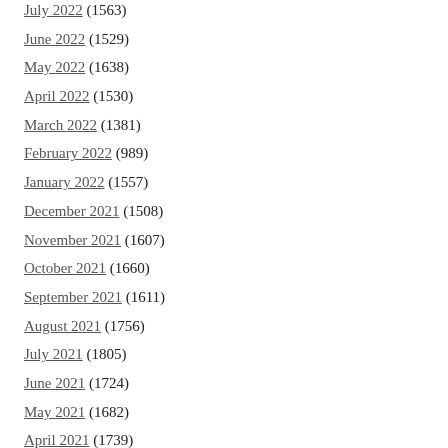July 2022 (1563)
June 2022 (1529)
May 2022 (1638)
April 2022 (1530)
March 2022 (1381)
February 2022 (989)
January 2022 (1557)
December 2021 (1508)
November 2021 (1607)
October 2021 (1660)
September 2021 (1611)
August 2021 (1756)
July 2021 (1805)
June 2021 (1724)
May 2021 (1682)
April 2021 (1739)
March 2021 (1777)
February 2021 (1618)
January 2021 (1824)